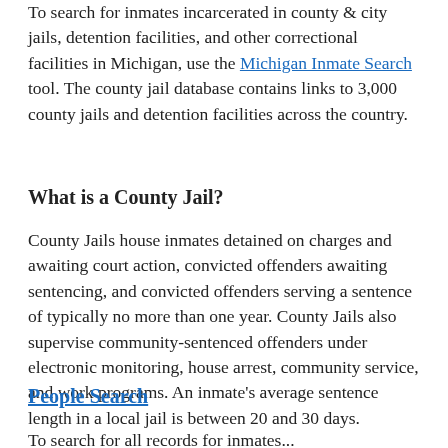To search for inmates incarcerated in county & city jails, detention facilities, and other correctional facilities in Michigan, use the Michigan Inmate Search tool. The county jail database contains links to 3,000 county jails and detention facilities across the country.
What is a County Jail?
County Jails house inmates detained on charges and awaiting court action, convicted offenders awaiting sentencing, and convicted offenders serving a sentence of typically no more than one year. County Jails also supervise community-sentenced offenders under electronic monitoring, house arrest, community service, and work programs. An inmate's average sentence length in a local jail is between 20 and 30 days.
People Search
To search for all records for inmates...